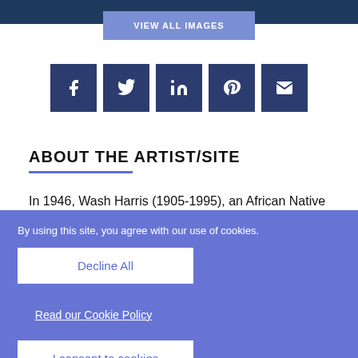[Figure (screenshot): Dark navy top bar strip]
VIEW ALL IMAGES
[Figure (infographic): Row of 5 social media icon buttons (Facebook, Twitter, LinkedIn, Pinterest, Email) in dark navy blue squares]
ABOUT THE ARTIST/SITE
In 1946, Wash Harris (1905-1995), an African Native American healer from Panola County, Mississippi, moved sixty miles north to the rural marshes on the outskirts of
By using this site, you agree with our use of cookies.
Decline All
Read our Cookie Policy
I consent to cookies
Want to know more?